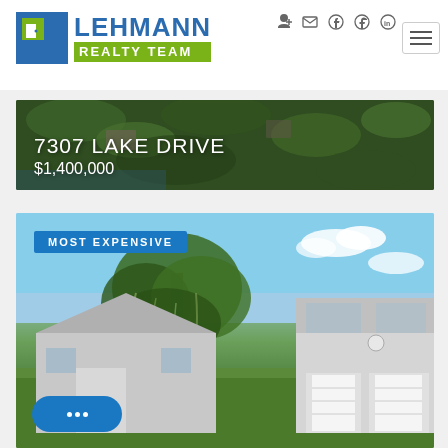[Figure (logo): Lehmann Realty Team logo with blue L icon and green REALTY TEAM bar]
[Figure (screenshot): Navigation icons: login, email, facebook, twitter, linkedin, hamburger menu]
[Figure (photo): Aerial photo of 7307 Lake Drive property surrounded by trees near water]
7307 LAKE DRIVE
$1,400,000
[Figure (photo): Photo of residential property with large oak tree draped in Spanish moss, house visible behind]
MOST EXPENSIVE